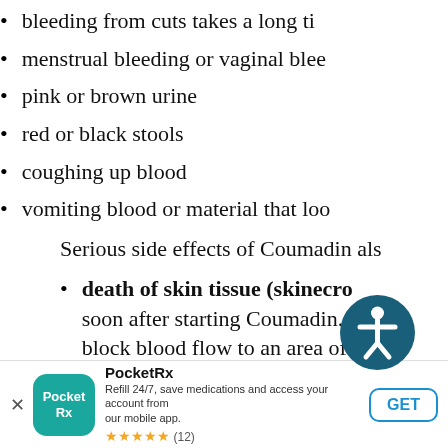bleeding from cuts takes a long ti...
menstrual bleeding or vaginal blee...
pink or brown urine
red or black stools
coughing up blood
vomiting blood or material that loo...
Serious side effects of Coumadin als...
death of skin tissue (skin necro... soon after starting Coumadin. It h... block blood flow to an area of you... right away if you have pain, color,... your body. You may need medica... (amputation) of your affected body...
[Figure (other): Accessibility icon — circular teal badge with a white person figure]
PocketRx — Refill 24/7, save medications and access your account from our mobile app. ★★★★★ (12) GET